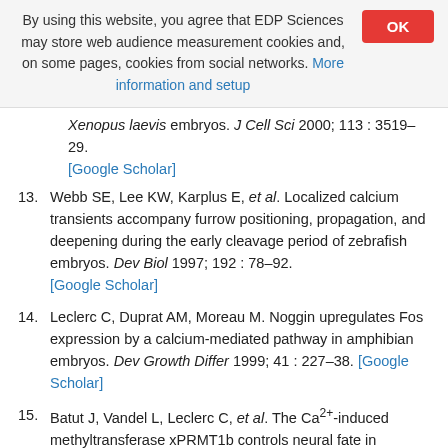By using this website, you agree that EDP Sciences may store web audience measurement cookies and, on some pages, cookies from social networks. More information and setup
Xenopus laevis embryos. J Cell Sci 2000; 113 : 3519–29. [Google Scholar]
13. Webb SE, Lee KW, Karplus E, et al. Localized calcium transients accompany furrow positioning, propagation, and deepening during the early cleavage period of zebrafish embryos. Dev Biol 1997; 192 : 78–92. [Google Scholar]
14. Leclerc C, Duprat AM, Moreau M. Noggin upregulates Fos expression by a calcium-mediated pathway in amphibian embryos. Dev Growth Differ 1999; 41 : 227–38. [Google Scholar]
15. Batut J, Vandel L, Leclerc C, et al. The Ca2+-induced methyltransferase xPRMT1b controls neural fate in